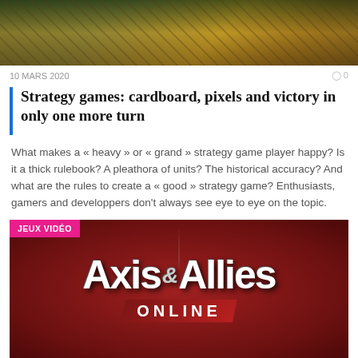[Figure (photo): Top image showing board game components including cards, game boards, and colorful pieces on a table]
10 MARS 2020   ◯ 0
Strategy games: cardboard, pixels and victory in only one more turn
What makes a « heavy » or « grand » strategy game player happy? Is it a thick rulebook? A pleathora of units? The historical accuracy? And what are the rules to create a « good » strategy game? Enthusiasts, gamers and developpers don't always see eye to eye on the topic.
[Figure (photo): Axis & Allies Online game logo on dark red background with JEUX VIDÉO badge in pink]